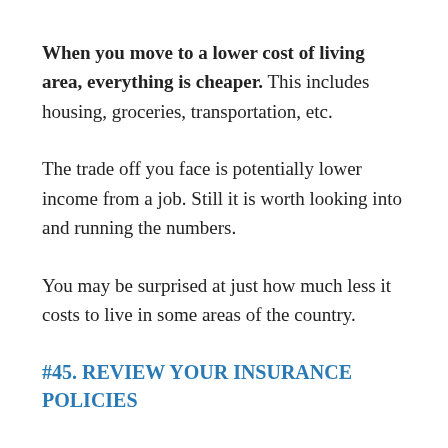When you move to a lower cost of living area, everything is cheaper. This includes housing, groceries, transportation, etc.
The trade off you face is potentially lower income from a job. Still it is worth looking into and running the numbers.
You may be surprised at just how much less it costs to live in some areas of the country.
#45. REVIEW YOUR INSURANCE POLICIES